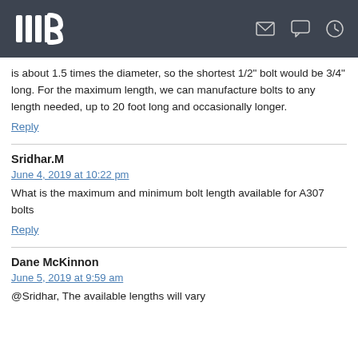IIIB logo with navigation icons (mail, chat, clock)
is about 1.5 times the diameter, so the shortest 1/2" bolt would be 3/4" long. For the maximum length, we can manufacture bolts to any length needed, up to 20 foot long and occasionally longer.
Reply
Sridhar.M
June 4, 2019 at 10:22 pm
What is the maximum and minimum bolt length available for A307 bolts
Reply
Dane McKinnon
June 5, 2019 at 9:59 am
@Sridhar, The available lengths will vary